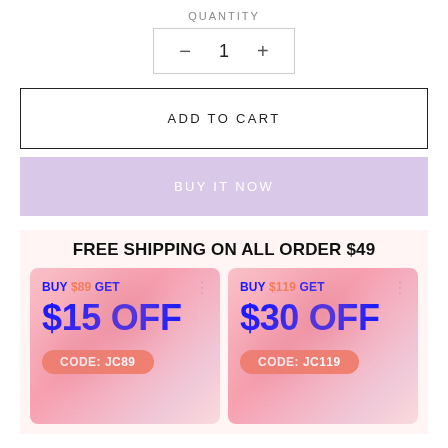QUANTITY
− 1 +
ADD TO CART
BUY IT NOW
FREE SHIPPING ON ALL ORDER $49
[Figure (infographic): Two coupon banners side by side on pink gradient background. Left: BUY $89 GET $15 OFF CODE: JC89. Right: BUY $119 GET $30 OFF CODE: JC119.]